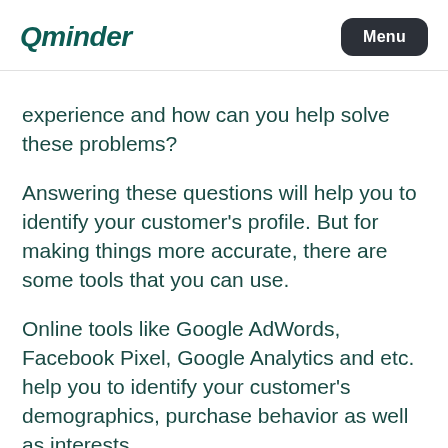Qminder | Menu
experience and how can you help solve these problems?
Answering these questions will help you to identify your customer’s profile. But for making things more accurate, there are some tools that you can use.
Online tools like Google AdWords, Facebook Pixel, Google Analytics and etc. help you to identify your customer’s demographics, purchase behavior as well as interests.